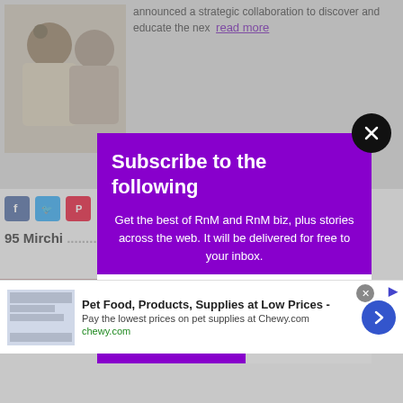announced a strategic collaboration to discover and educate the nex  read more
95 Mirchi musical twist on B... read more
[Figure (screenshot): Subscribe modal overlay on a web article page with purple background]
Subscribe to the following
Get the best of RnM and RnM biz, plus stories across the web. It will be delivered for free to your inbox.
email@example.com
SUBSCRIBE
[Figure (infographic): Advertisement banner for Chewy.com pet food and supplies]
Pet Food, Products, Supplies at Low Prices -
Pay the lowest prices on pet supplies at Chewy.com
chewy.com